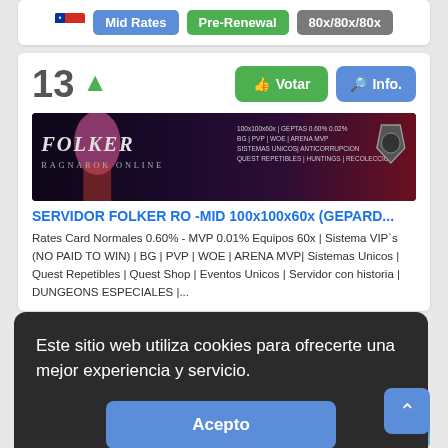[Figure (screenshot): Top card with Chilean flag, Mid Rates badge, Pre-Renewal badge, 80x/80x/80x badge]
13 ↑
Votar
Info.
[Figure (screenshot): FOLKER Ragnarok Online server banner with anime characters and server info text]
SERVIDOR FOLKER RO -MID 100x100x60x (GEPARD...
Rates Card Normales 0.60% - MVP 0.01% Equipos 60x | Sistema VIP`s (NO PAID TO WIN) | BG | PVP | WOE | ARENA MVP| Sistemas Unicos | Quest Repetibles | Quest Shop | Eventos Unicos | Servidor con historia | DUNGEONS ESPECIALES |...
Este sitio web utiliza cookies para ofrecerte una mejor experiencia y servicio.
Acepto